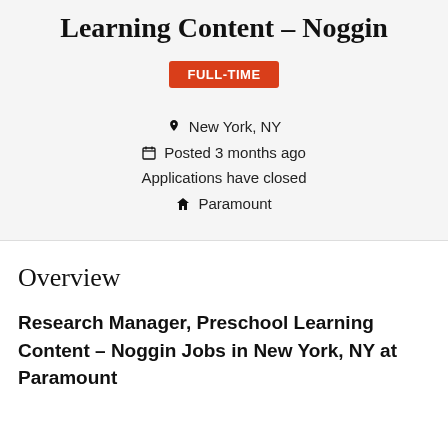Learning Content – Noggin
FULL-TIME
📍 New York, NY
📅 Posted 3 months ago
Applications have closed
🏠 Paramount
Overview
Research Manager, Preschool Learning Content – Noggin Jobs in New York, NY at Paramount